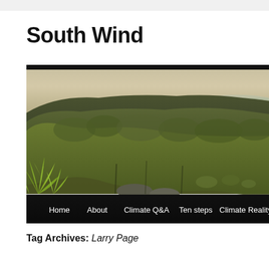South Wind
[Figure (photo): Landscape photograph of a forested hillside with scrubby vegetation in the foreground, dense green tree canopy covering rolling hills, and a hazy sky and water visible in the distance. The image has a wide panoramic crop. A black navigation bar at the bottom contains: Home, About, Climate Q&A, Ten steps, Climate Reality, Co...]
Tag Archives: Larry Page